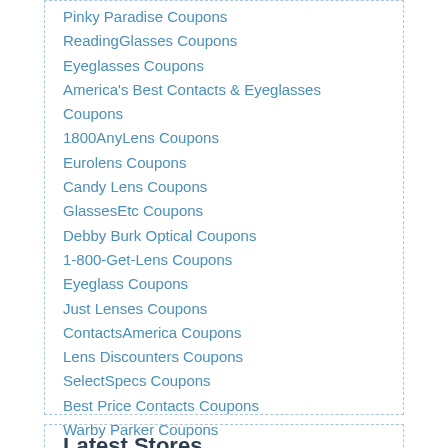Pinky Paradise Coupons
ReadingGlasses Coupons
Eyeglasses Coupons
America's Best Contacts & Eyeglasses Coupons
1800AnyLens Coupons
Eurolens Coupons
Candy Lens Coupons
GlassesEtc Coupons
Debby Burk Optical Coupons
1-800-Get-Lens Coupons
Eyeglass Coupons
Just Lenses Coupons
ContactsAmerica Coupons
Lens Discounters Coupons
SelectSpecs Coupons
Best Price Contacts Coupons
Warby Parker Coupons
Latest Stores
Bouge RV Coupon Codes
Charles & Keith US Coupon Codes